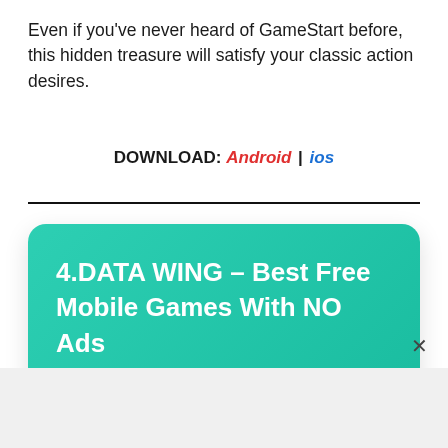Even if you've never heard of GameStart before, this hidden treasure will satisfy your classic action desires.
DOWNLOAD: Android | ios
4.DATA WING – Best Free Mobile Games With NO Ads